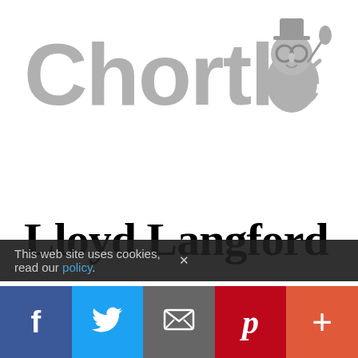[Figure (logo): Chortle logo in large grey text with a cartoon mascot (figure with glasses and microphone) to the upper right]
Lloyd Langford
Welsh comedian now based in Australia where he's a regular on the panel show Have You Been Paying Attention?
This web site uses cookies, read our policy.
[Figure (infographic): Social sharing bar with Facebook, Twitter, Email, Pinterest, and More buttons]